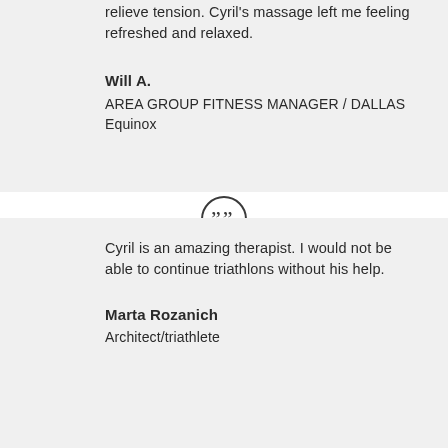relieve tension. Cyril's massage left me feeling refreshed and relaxed.
Will A.
AREA GROUP FITNESS MANAGER / DALLAS
Equinox
[Figure (illustration): Circular quotation mark icon with double closing quotation marks inside a circle outline]
Cyril is an amazing therapist. I would not be able to continue triathlons without his help.
Marta Rozanich
Architect/triathlete